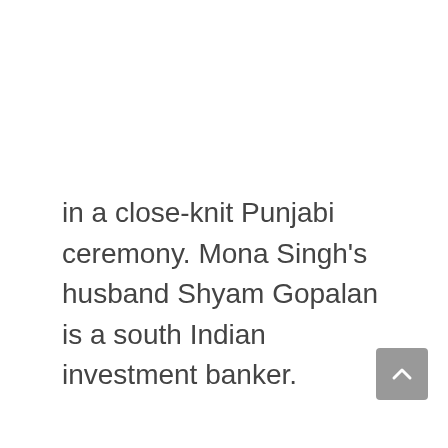in a close-knit Punjabi ceremony. Mona Singh's husband Shyam Gopalan is a south Indian investment banker.